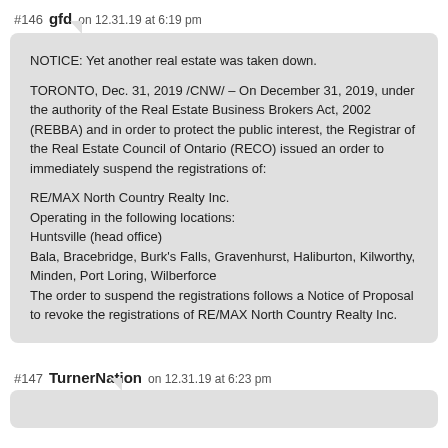#146 gfd on 12.31.19 at 6:19 pm
NOTICE: Yet another real estate was taken down.
TORONTO, Dec. 31, 2019 /CNW/ – On December 31, 2019, under the authority of the Real Estate Business Brokers Act, 2002 (REBBA) and in order to protect the public interest, the Registrar of the Real Estate Council of Ontario (RECO) issued an order to immediately suspend the registrations of:

RE/MAX North Country Realty Inc.
Operating in the following locations:
Huntsville (head office)
Bala, Bracebridge, Burk's Falls, Gravenhurst, Haliburton, Kilworthy, Minden, Port Loring, Wilberforce
The order to suspend the registrations follows a Notice of Proposal to revoke the registrations of RE/MAX North Country Realty Inc.
#147 TurnerNation on 12.31.19 at 6:23 pm